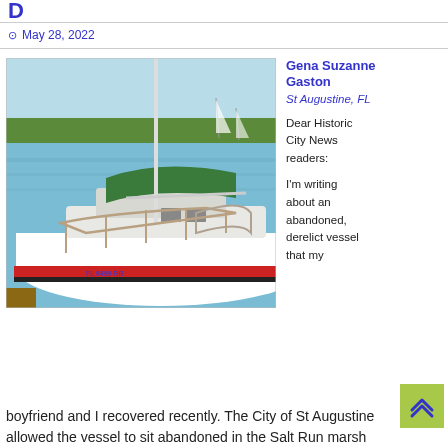B
May 28, 2022
[Figure (photo): A white sailboat with a red stripe docked at a marina, with a green bimini top, metal railings, and a registration number visible on the hull. Blue water and other sailboats in background.]
Gena Suzanne Gaston
St Augustine, FL

Dear Historic City News readers:

I'm writing about an abandoned, derelict vessel that my boyfriend and I recovered recently. The City of St Augustine allowed the vessel to sit abandoned in the Salt Run marsh